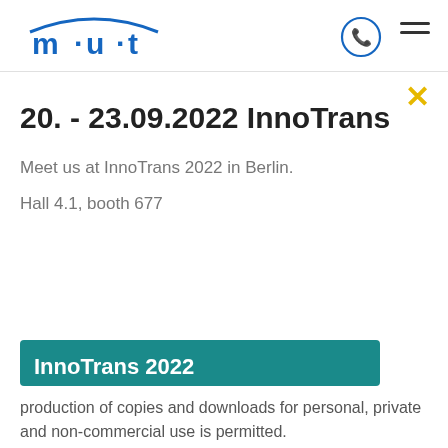[Figure (logo): m·u·t company logo in blue with stylized text and swoosh]
[Figure (illustration): Phone icon inside a circle (contact button)]
[Figure (illustration): Hamburger menu icon (three horizontal lines)]
[Figure (illustration): Yellow/gold X close button]
20. - 23.09.2022 InnoTrans
Meet us at InnoTrans 2022 in Berlin.
Hall 4.1, booth 677
[Figure (illustration): Teal/dark cyan button partially visible at bottom of modal]
production of copies and downloads for personal, private and non-commercial use is permitted.